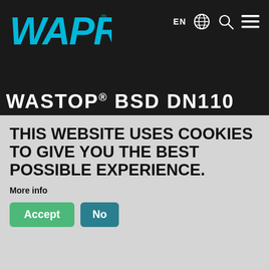[Figure (logo): WAPRO logo in cyan/blue stylized text on dark background header, with EN globe search and hamburger menu icons on the right]
WASTOP® BSD DN110
THIS WEBSITE USES COOKIES TO GIVE YOU THE BEST POSSIBLE EXPERIENCE.
More info
Accept  No